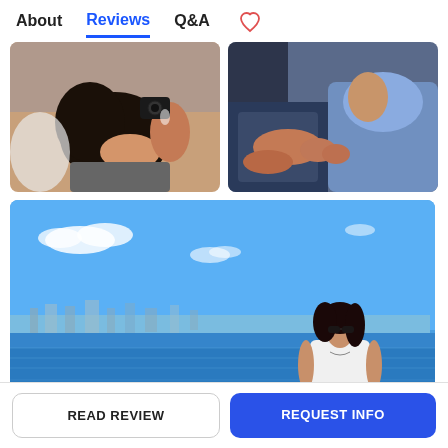About | Reviews | Q&A | ♡
[Figure (photo): Photo of a woman with long dark hair lying down, looking at a camera]
[Figure (photo): Photo of two people sitting close together indoors]
[Figure (photo): Photo of a woman in white top and sunglasses standing in front of a waterfront with city skyline in the background]
READ REVIEW
REQUEST INFO